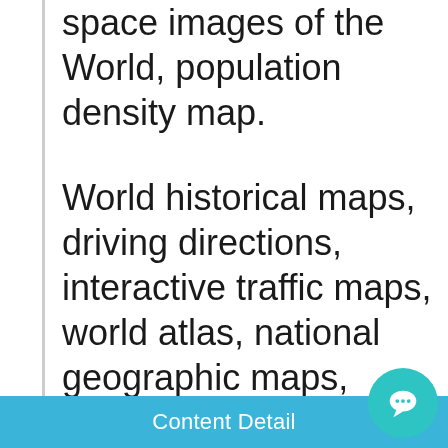space images of the World, population density map.
World historical maps, driving directions, interactive traffic maps, world atlas, national geographic maps, ancient world maps, earth roads map, google street map, regional terrain and statistics maps.
Content Detail